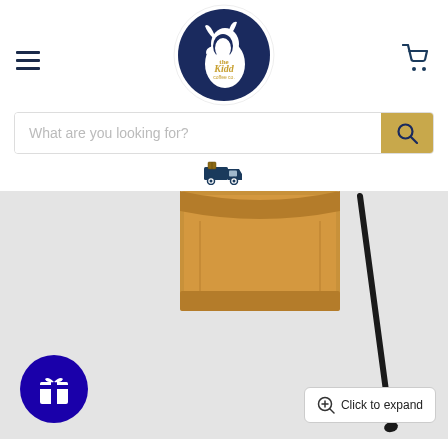[Figure (logo): The Kidd Coffee Co. logo — dark navy circle with white goat silhouette and gold text]
What are you looking for?
[Figure (illustration): Delivery truck icon in navy blue]
[Figure (photo): Product photo showing a kraft paper coffee bag and a spoon on a light grey background, with a navy gift button and 'Click to expand' overlay]